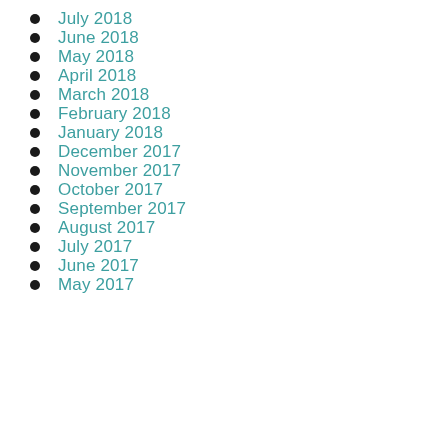July 2018
June 2018
May 2018
April 2018
March 2018
February 2018
January 2018
December 2017
November 2017
October 2017
September 2017
August 2017
July 2017
June 2017
May 2017